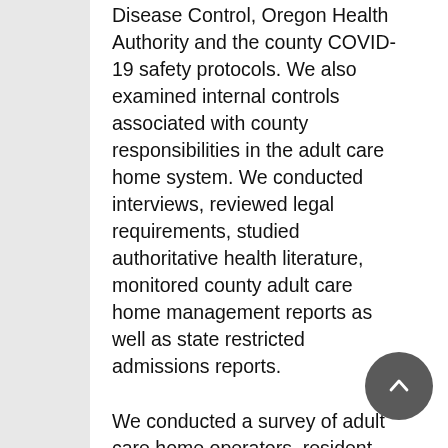Disease Control, Oregon Health Authority and the county COVID-19 safety protocols.  We also examined internal controls associated with county responsibilities in the adult care home system.  We conducted interviews, reviewed legal requirements, studied authoritative health literature, monitored county adult care home management reports as well as state restricted admissions reports.
We conducted a survey of adult care home operators, resident care managers, and caregivers to provide information about internal control implementation. Based on our understanding of internal controls and survey results, we assessed the